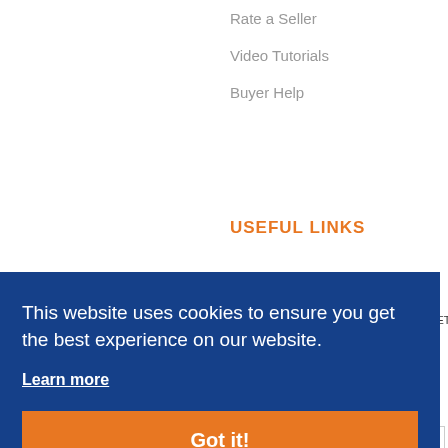Rate a Seller
Video Tutorials
Buyer Help
USEFUL LINKS
My Account/Login
Have Property to Sell?
Testimonials
This website uses cookies to ensure you get the best experience on our website.
Learn more
Got it!
BID4ASSET
ick™; Bid4A